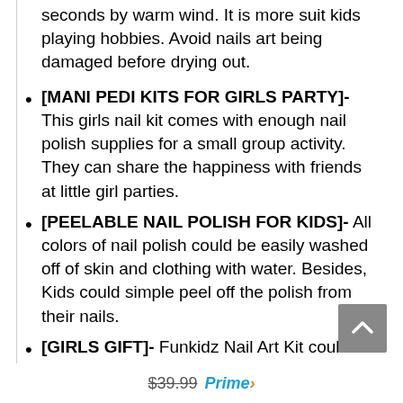seconds by warm wind. It is more suit kids playing hobbies. Avoid nails art being damaged before drying out.
[MANI PEDI KITS FOR GIRLS PARTY]- This girls nail kit comes with enough nail polish supplies for a small group activity. They can share the happiness with friends at little girl parties.
[PEELABLE NAIL POLISH FOR KIDS]- All colors of nail polish could be easily washed off of skin and clothing with water. Besides, Kids could simple peel off the polish from their nails.
[GIRLS GIFT]- Funkidz Nail Art Kit could be used on birthday party, Christmas and other occasions for girls ages 8-12 and 10-12 who loves makeup and do it herself ages 6, 7, 8, 9, 10, 11, 12 kids.
$39.99 Prime